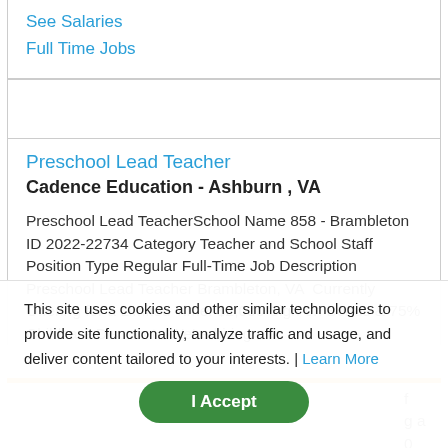See Salaries
Full Time Jobs
Preschool Lead Teacher
Cadence Education - Ashburn , VA
Preschool Lead TeacherSchool Name 858 - Brambleton ID 2022-22734 Category Teacher and School Staff Position Type Regular Full-Time Job Description Preschool Lead Teacher Brambleton, VA  Currently Offering for a Limited Time: $2,000 Sign-on Bonus & 75% Childcare Discount   We’re hiring ...
This site uses cookies and other similar technologies to provide site functionality, analyze traffic and usage, and deliver content tailored to your interests. | Learn More
I Accept